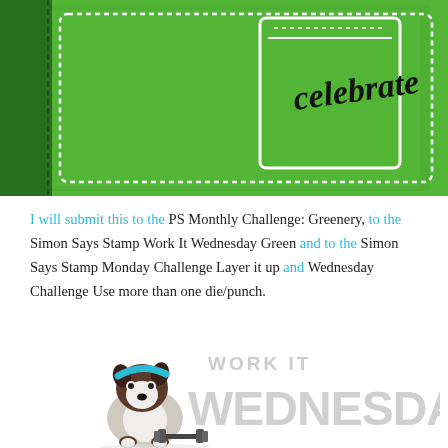[Figure (photo): Handmade greeting card with bright green watercolor background, white scalloped border, and 'celebrate' written in black script lettering inside a white jar/mason jar die cut outline. Green striped border on left side.]
I will submit this to the PS Monthly Challenge: Greenery, to the Simon Says Stamp Work It Wednesday Green and to the Simon Says Stamp Monday Challenge Layer it up and Wednesday Challenge Use more than one die/punch.
[Figure (logo): Work It Wednesday logo featuring a cartoon Boston Terrier dog with a teal headband doing weightlifting, with large light gray text reading 'WORK IT WEDNESDAY']